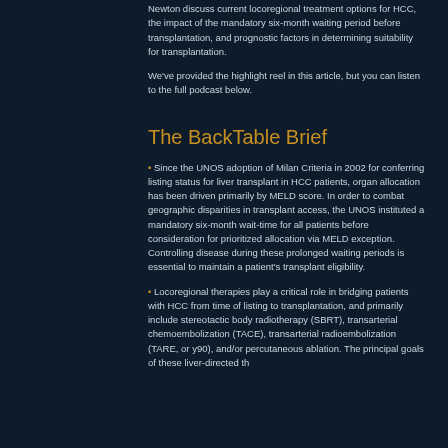Newton discuss current locoregional treatment options for HCC, the impact of the mandatory six-month waiting period before transplantation, and prognostic factors in determining suitability for transplantation.
We've provided the highlight reel in this article, but you can listen to the full podcast below.
The BackTable Brief
Since the UNOS adoption of Milan Criteria in 2002 for conferring listing status for liver transplant in HCC patients, organ allocation has been driven primarily by MELD score. In order to combat geographic disparities in transplant access, the UNOS instituted a mandatory six-month wait-time for all patients before consideration for prioritized allocation via MELD exception. Controlling disease during these prolonged waiting periods is essential to maintain a patient's transplant eligibility.
Locoregional therapies play a critical role in bridging patients with HCC from time of listing to transplantation, and primarily include stereotactic body radiotherapy (SBRT), transarterial chemoembolization (TACE), transarterial radioembolization (TARE, or y90), and/or percutaneous ablation. The principal goals of these liver-directed therapies are to control disease, potentially confirm...